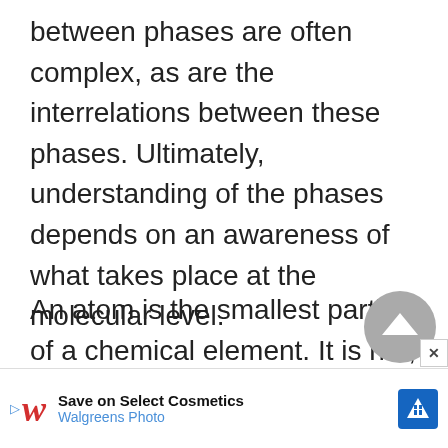between phases are often complex, as are the interrelations between these phases. Ultimately, understanding of the phases depends on an awareness of what takes place at the molecular level.
An atom is the smallest particle of a chemical element. It is not, however, the smallest thing in the universe; atoms are composed of subatomic particles, including protons, neutrons, and